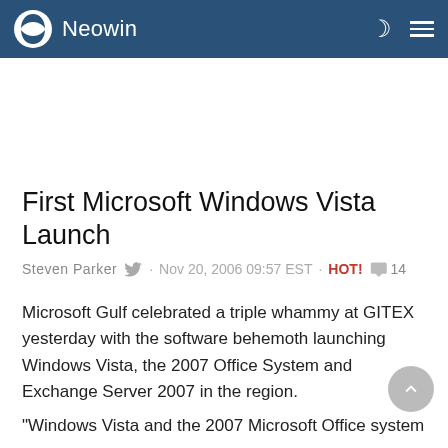Neowin
[Figure (other): Advertisement space (blank white area)]
First Microsoft Windows Vista Launch
Steven Parker · Nov 20, 2006 09:57 EST · HOT! 💬 14
Microsoft Gulf celebrated a triple whammy at GITEX yesterday with the software behemoth launching Windows Vista, the 2007 Office System and Exchange Server 2007 in the region.
"Windows Vista and the 2007 Microsoft Office system are